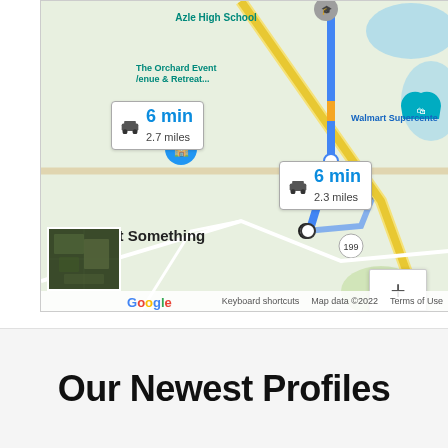[Figure (map): Google Maps screenshot showing driving directions near Azle High School. Two route bubbles: '6 min / 2.7 miles' and '6 min / 2.3 miles'. Destination labeled 'Ain't That Something'. Nearby landmarks: The Orchard Event Venue & Retreat, Walmart Supercenter. Zoom controls (+/-) visible. Map footer: Keyboard shortcuts, Map data ©2022, Terms of Use. Satellite thumbnail in lower-left.]
Our Newest Profiles